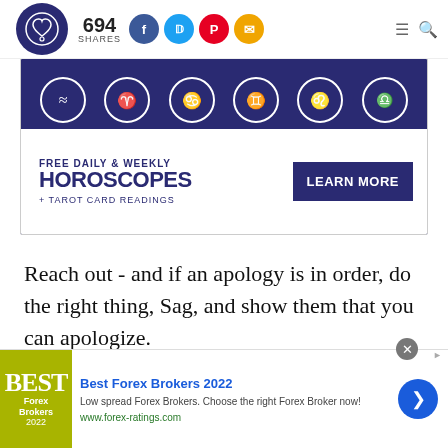694 SHARES — [logo, social icons: Facebook, Twitter, Pinterest, Email, hamburger menu, search]
[Figure (infographic): Zodiac horoscope banner showing zodiac signs (Aquarius, Aries, Cancer, Gemini, Leo, Libra) with symbols in circles on dark navy background, with white card below reading FREE DAILY & WEEKLY HOROSCOPES + TAROT CARD READINGS with LEARN MORE button]
Reach out - and if an apology is in order, do the right thing, Sag, and show them that you can apologize.
[Figure (infographic): Advertisement for Best Forex Brokers 2022 - olive/yellow-green logo on left, text: Best Forex Brokers 2022, Low spread Forex Brokers. Choose the right Forex Broker now! www.forex-ratings.com, with blue arrow button on right]